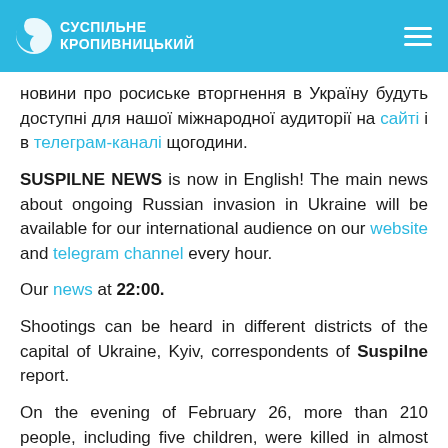СУСПІЛЬНЕ КРОПИВНИЦЬКИЙ
новини про росиське вторгнення в Україну будуть доступні для нашої міжнародної аудиторії на сайті і в телеграм-каналі щогодини.
SUSPILNE NEWS is now in English! The main news about ongoing Russian invasion in Ukraine will be available for our international audience on our website and telegram channel every hour.
Our news at 22:00.
Shootings can be heard in different districts of the capital of Ukraine, Kyiv, correspondents of Suspilne report.
On the evening of February 26, more than 210 people, including five children, were killed in almost three days of Russian offensive in Ukraine. More than 1,100 people, including more than 100 children, were injured or injured, the President's Office said. In particular,